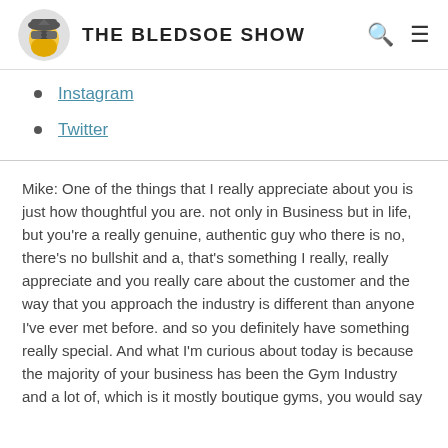THE BLEDSOE SHOW
Instagram
Twitter
Mike: One of the things that I really appreciate about you is just how thoughtful you are. not only in Business but in life, but you're a really genuine, authentic guy who there is no, there's no bullshit and a, that's something I really, really appreciate and you really care about the customer and the way that you approach the industry is different than anyone I've ever met before. and so you definitely have something really special. And what I'm curious about today is because the majority of your business has been the Gym Industry and a lot of, which is it mostly boutique gyms, you would say